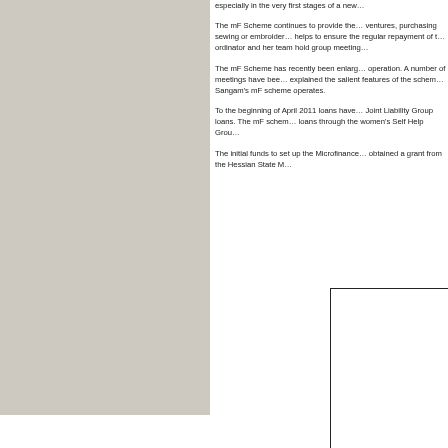especially in the very first stages of a new …
The mF Scheme continues to provide the … ventures, purchasing sewing or embroidery … helps to ensure the regular repayment of t… ordinator and her team hold group meeting…
The mF Scheme has recently been enlarg… operation. A number of meetings have bee… explained the salient features of the schem… Sangam's mF scheme operates.
To the beginning of April 2011 loans have … Joint Liability Group loans. The mF schem… loans through the women's Self Help Grou…
The initial funds to set up the Microfinance… obtained a grant from the Hessian State M…
[Figure (other): Partial image or box visible at bottom right of page, bordered rectangle]